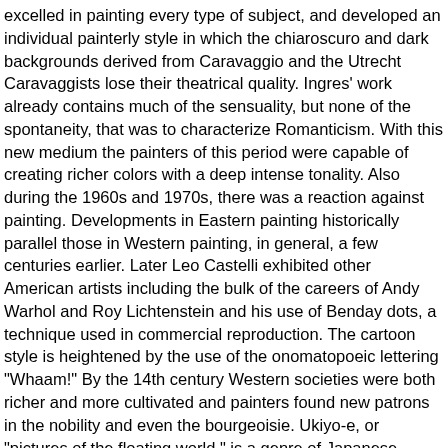excelled in painting every type of subject, and developed an individual painterly style in which the chiaroscuro and dark backgrounds derived from Caravaggio and the Utrecht Caravaggists lose their theatrical quality. Ingres' work already contains much of the sensuality, but none of the spontaneity, that was to characterize Romanticism. With this new medium the painters of this period were capable of creating richer colors with a deep intense tonality. Also during the 1960s and 1970s, there was a reaction against painting. Developments in Eastern painting historically parallel those in Western painting, in general, a few centuries earlier. Later Leo Castelli exhibited other American artists including the bulk of the careers of Andy Warhol and Roy Lichtenstein and his use of Benday dots, a technique used in commercial reproduction. The cartoon style is heightened by the use of the onomatopoeic lettering "Whaam!" By the 14th century Western societies were both richer and more cultivated and painters found new patrons in the nobility and even the bourgeoisie. Ukiyo-e, or "pictures of the floating world," is a genre of Japanese woodblock prints (or "woodcuts") and paintings produced between the 17th and 20th centuries, featuring motifs of landscapes, theater, and courtesan districts. In particular Milton Avery through his use of color and his interest in seascape and landscape paintings connected with the Color field aspect of Abstract expressionism as manifested by Adolph Gottlieb and Mark Rothko as well as the lessons American painters took from the work of Henri Matisse.[73][74]. Apr 12, 2016. This Piece online owned by Museum of Pinterest to learn all The